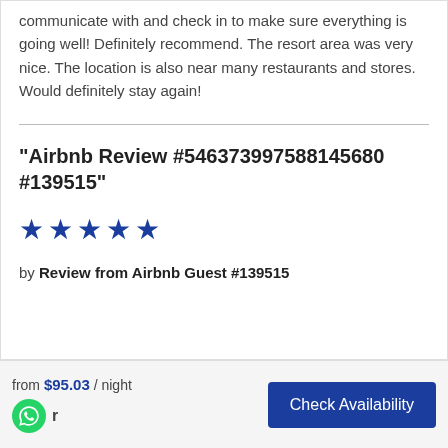communicate with and check in to make sure everything is going well! Definitely recommend. The resort area was very nice. The location is also near many restaurants and stores. Would definitely stay again!
"Airbnb Review #546373997588145680 #139515"
★★★★★ (5 stars)
by Review from Airbnb Guest #139515
from $95.03 / night
Check Availability